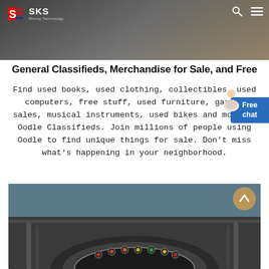[Figure (photo): Top banner image showing mining/construction equipment in dark/grey tones with SKS Mining Technology logo and navigation icons]
General Classifieds, Merchandise for Sale, and Free
Find used books, used clothing, collectibles, used computers, free stuff, used furniture, garage sales, musical instruments, used bikes and more on Oodle Classifieds. Join millions of people using Oodle to find unique things for sale. Don't miss what's happening in your neighborhood.
[Figure (photo): Bottom image showing close-up of mining/construction equipment dashboard with gauges and controls]